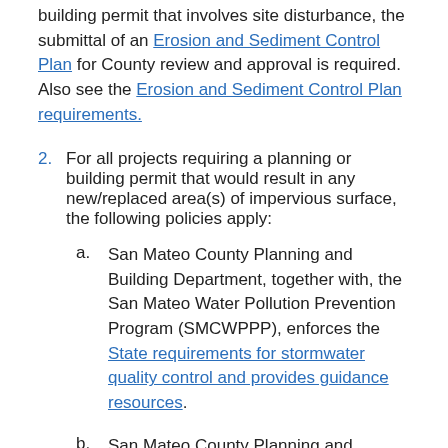building permit that involves site disturbance, the submittal of an Erosion and Sediment Control Plan for County review and approval is required. Also see the Erosion and Sediment Control Plan requirements.
2. For all projects requiring a planning or building permit that would result in any new/replaced area(s) of impervious surface, the following policies apply:
a. San Mateo County Planning and Building Department, together with, the San Mateo Water Pollution Prevention Program (SMCWPPP), enforces the State requirements for stormwater quality control and provides guidance resources.
b. San Mateo County Planning and Building